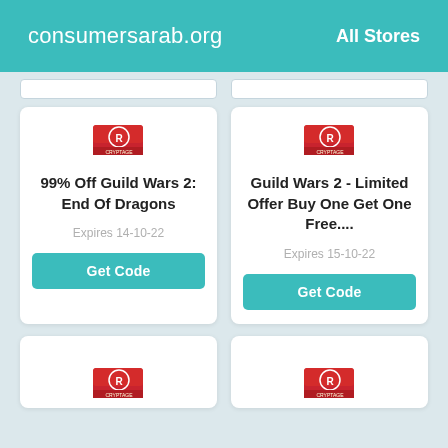consumersarab.org   All Stores
99% Off Guild Wars 2: End Of Dragons
Expires 14-10-22
Get Code
Guild Wars 2 - Limited Offer Buy One Get One Free....
Expires 15-10-22
Get Code